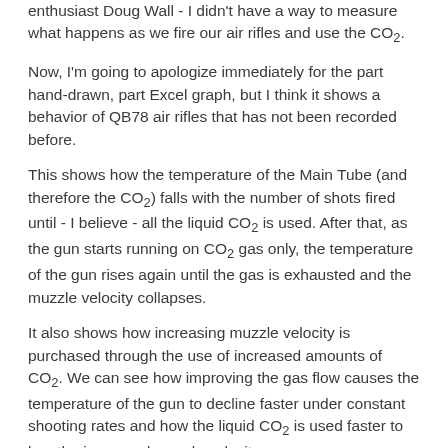enthusiast Doug Wall - I didn't have a way to measure what happens as we fire our air rifles and use the CO2.
Now, I'm going to apologize immediately for the part hand-drawn, part Excel graph, but I think it shows a behavior of QB78 air rifles that has not been recorded before.
This shows how the temperature of the Main Tube (and therefore the CO2) falls with the number of shots fired until - I believe - all the liquid CO2 is used. After that, as the gun starts running on CO2 gas only, the temperature of the gun rises again until the gas is exhausted and the muzzle velocity collapses.
It also shows how increasing muzzle velocity is purchased through the use of increased amounts of CO2. We can see how improving the gas flow causes the temperature of the gun to decline faster under constant shooting rates and how the liquid CO2 is used faster to buy the increased muzzle velocity.
This graph takes three tests on the same .177 cal QB78 air